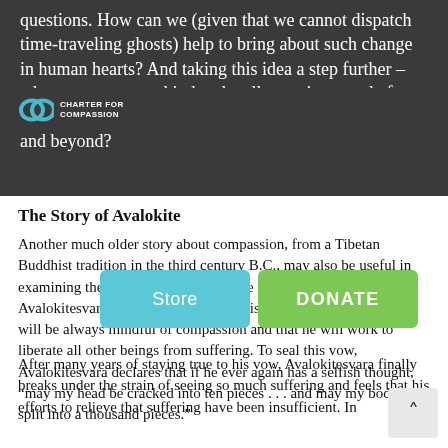questions. How can we (given that we cannot dispatch time-traveling ghosts) help to bring about such change in human hearts? And taking this idea a step further – what prevents even kind and well-meaning people from acting with compassion within their own communities and beyond?
The Story of Avalokite...
Another much older story about compassion, from a Tibetan Buddhist tradition in the third century B.C., may also be useful in examining these issues. Long ago there lived a man named Avalokitesvara, who makes a vow to his spiritual teacher that he will be always mindful of compassion and that he will work to liberate all other beings from suffering. To seal this vow, Avalokitesvara declares that if he ever again has a selfish thought, “may my head be cracked into ten pieces . . . and may my body be split into a thousand pieces.”
After many years of staying true to his vow, Avalokitesvara finally breaks under the strain of seeing so much suffering and feels that his efforts to relieve that suffering have been insufficient. In